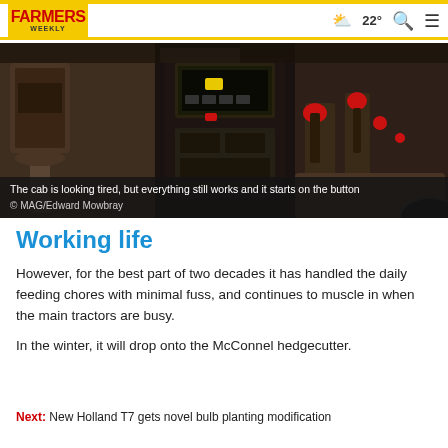FARMERS WEEKLY | 22° | Search | Menu
[Figure (photo): Close-up view of a tractor cab interior showing controls, joysticks, and dashboard panels. The cab looks worn but functional.]
The cab is looking tired, but everything still works and it starts on the button
© MAG/Edward Mowbray
Working life
However, for the best part of two decades it has handled the daily feeding chores with minimal fuss, and continues to muscle in when the main tractors are busy.
In the winter, it will drop onto the McConnel hedgecutter.
Next: New Holland T7 gets novel bulb planting modification